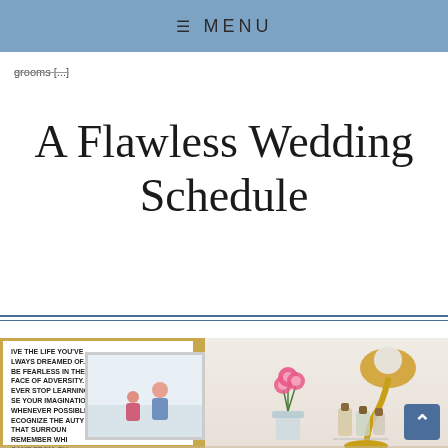≡ MENU
grooms [...]
A Flawless Wedding Schedule
[Figure (photo): Desk scene with motivational poster, gold desk lamp, pink flowers in vase, small cork-topped bottles, and a small framed photograph on a white desk surface]